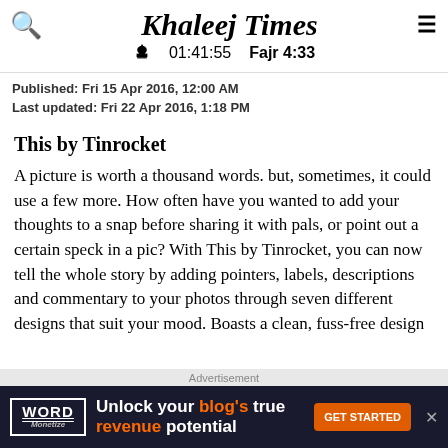Khaleej Times | 01:41:55 | Fajr 4:33
Published: Fri 15 Apr 2016, 12:00 AM
Last updated: Fri 22 Apr 2016, 1:18 PM
This by Tinrocket
A picture is worth a thousand words. but, sometimes, it could use a few more. How often have you wanted to add your thoughts to a snap before sharing it with pals, or point out a certain speck in a pic? With This by Tinrocket, you can now tell the whole story by adding pointers, labels, descriptions and commentary to your photos through seven different designs that suit your mood. Boasts a clean, fuss-free design
Advertisement
[Figure (other): Advertisement banner: Word Monetize - Unlock your blog's true revenue potential - GET STARTED button]